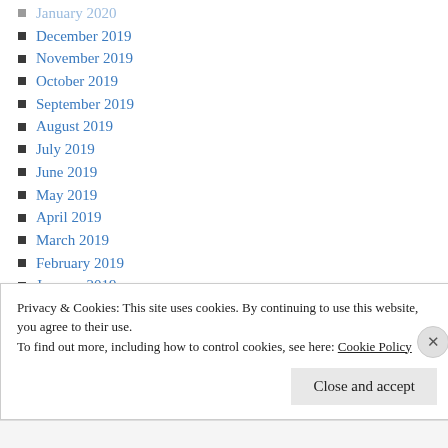January 2020
December 2019
November 2019
October 2019
September 2019
August 2019
July 2019
June 2019
May 2019
April 2019
March 2019
February 2019
January 2019
December 2018
November 2018
October 2018
September 2018
August 2018
Privacy & Cookies: This site uses cookies. By continuing to use this website, you agree to their use.
To find out more, including how to control cookies, see here: Cookie Policy